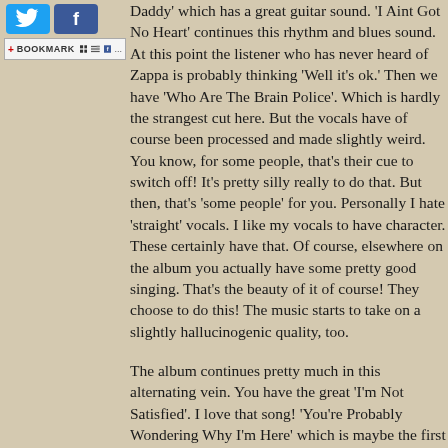[Figure (other): Twitter and Facebook social sharing buttons, plus a bookmark toolbar with bookmark icon and sharing options]
Daddy' which has a great guitar sound. 'I Aint Got No Heart' continues this rhythm and blues sound. At this point the listener who has never heard of Zappa is probably thinking 'Well it's ok.' Then we have 'Who Are The Brain Police'. Which is hardly the strangest cut here. But the vocals have of course been processed and made slightly weird. You know, for some people, that's their cue to switch off! It's pretty silly really to do that. But then, that's 'some people' for you. Personally I hate 'straight' vocals. I like my vocals to have character. These certainly have that. Of course, elsewhere on the album you actually have some pretty good singing. That's the beauty of it of course! They choose to do this! The music starts to take on a slightly hallucinogenic quality, too.
The album continues pretty much in this alternating vein. You have the great 'I'm Not Satisfied'. I love that song! 'You're Probably Wondering Why I'm Here' which is maybe the first example of that speeded up complex percussion that Zappa does so well. I love that song, too. Of course, at the very end of this you